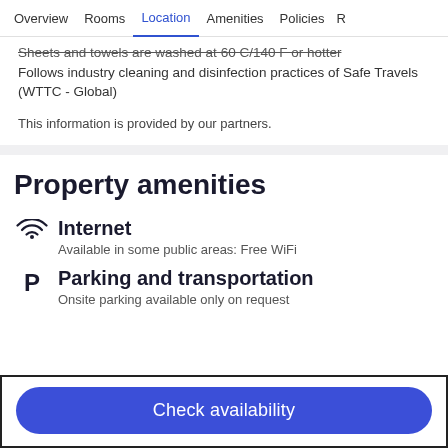Overview  Rooms  Location  Amenities  Policies  R
Sheets and towels are washed at 60 C/140 F or hotter
Follows industry cleaning and disinfection practices of Safe Travels (WTTC - Global)
This information is provided by our partners.
Property amenities
Internet
Available in some public areas: Free WiFi
Parking and transportation
Onsite parking available only on request
Check availability